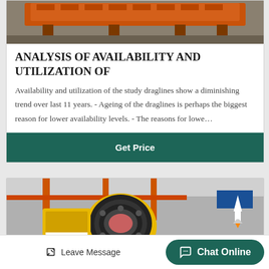[Figure (photo): Orange industrial dragline mining equipment on concrete floor, top portion of the image]
ANALYSIS OF AVAILABILITY AND UTILIZATION OF
Availability and utilization of the study draglines show a diminishing trend over last 11 years. - Ageing of the draglines is perhaps the biggest reason for lower availability levels. - The reasons for lowe…
Get Price
[Figure (photo): Yellow and red jaw crusher industrial machinery inside a factory building with orange steel structure overhead]
Leave Message
Chat Online